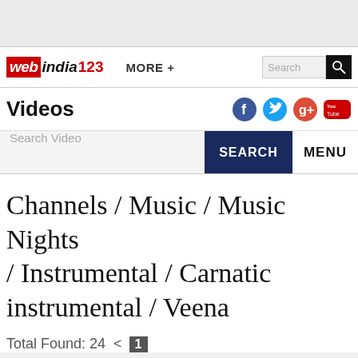webindia123  MORE +  Search
Videos
Search Video  SEARCH  MENU
Channels / Music / Music Nights / Instrumental / Carnatic instrumental / Veena
Total Found: 24  < 1